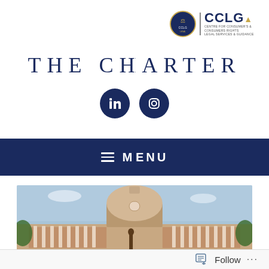[Figure (logo): CCLG logo with circular emblem showing scales of justice and CCLG text]
THE CHARTER
[Figure (infographic): LinkedIn and Instagram social media icons as dark navy circle buttons]
≡ MENU
[Figure (photo): Photograph of the Supreme Court of India building with its dome and columned facade]
Follow ...